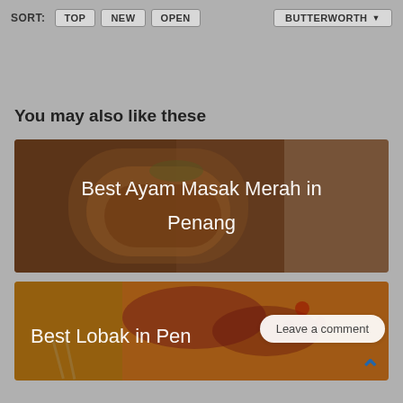SORT:  TOP  NEW  OPEN  BUTTERWORTH
You may also like these
[Figure (photo): Food photo showing Ayam Masak Merah dish with overlay text 'Best Ayam Masak Merah in Penang']
[Figure (photo): Food photo showing Lobak dish with overlay text 'Best Lobak in Penang']